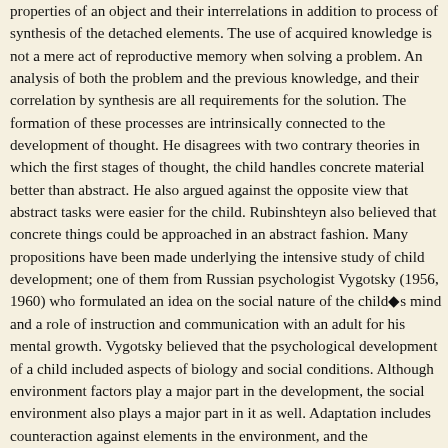properties of an object and their interrelations in addition to process of synthesis of the detached elements. The use of acquired knowledge is not a mere act of reproductive memory when solving a problem. An analysis of both the problem and the previous knowledge, and their correlation by synthesis are all requirements for the solution. The formation of these processes are intrinsically connected to the development of thought. He disagrees with two contrary theories in which the first stages of thought, the child handles concrete material better than abstract. He also argued against the opposite view that abstract tasks were easier for the child. Rubinshteyn also believed that concrete things could be approached in an abstract fashion. Many propositions have been made underlying the intensive study of child development; one of them from Russian psychologist Vygotsky (1956, 1960) who formulated an idea on the social nature of the child's mind and a role of instruction and communication with an adult for his mental growth. Vygotsky believed that the psychological development of a child included aspects of biology and social conditions. Although environment factors play a major part in the development, the social environment also plays a major part in it as well. Adaptation includes counteraction against elements in the environment, and the interrelations between the child and his/her environment, which are regulated through upbringings. Upbringing is determined by society, culture, tradition, morals, and ideals (1972). Development and Education Instruction and Education are of supreme importance in a child's mental growth, which has been agreed to with all Soviet